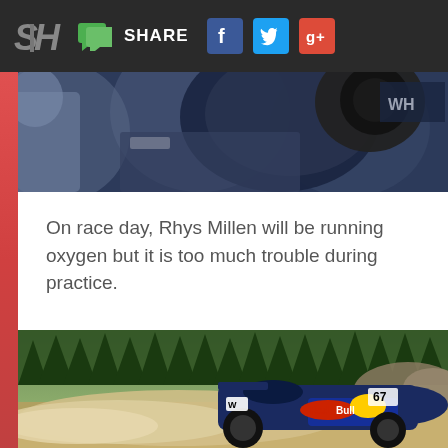SH | SHARE [Facebook] [Twitter] [Google+]
[Figure (photo): Close-up photo of a racing driver's helmet and suit, dark background, partial view of helmet and shoulder area with sponsor logos]
On race day, Rhys Millen will be running oxygen but it is too much trouble during practice.
[Figure (photo): Red Bull racing car number 67 kicking up dust and dirt on a mountain road, forest trees in background, car sliding sideways with dust cloud, Pikes Peak hillclimb race]